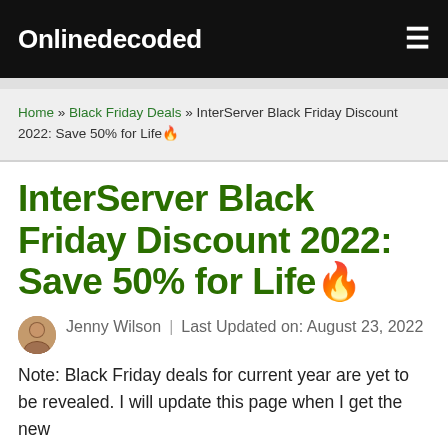Onlinedecoded
Home » Black Friday Deals » InterServer Black Friday Discount 2022: Save 50% for Life🔥
InterServer Black Friday Discount 2022: Save 50% for Life🔥
Jenny Wilson  |  Last Updated on: August 23, 2022
Note: Black Friday deals for current year are yet to be revealed. I will update this page when I get the new